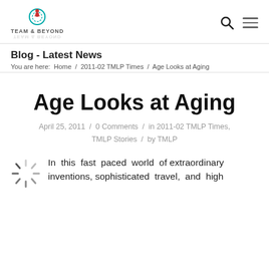TEAM & BEYOND
Blog - Latest News
You are here:  Home  /  2011-02 TMLP Times  /  Age Looks at Aging
Age Looks at Aging
April 25, 2011 / 0 Comments / in 2011-02 TMLP Times, TMLP Stories / by TMLP
[Figure (other): Loading spinner icon]
In this fast paced world of extraordinary inventions, sophisticated travel, and high